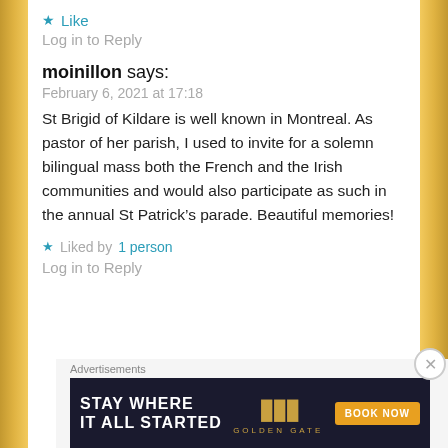★ Like
Log in to Reply
moinillon says:
February 6, 2021 at 17:18
St Brigid of Kildare is well known in Montreal. As pastor of her parish, I used to invite for a solemn bilingual mass both the French and the Irish communities and would also participate as such in the annual St Patrick's parade. Beautiful memories!
★ Liked by 1 person
Log in to Reply
Advertisements
[Figure (screenshot): Hotel advertisement banner: STAY WHERE IT ALL STARTED — Golden Gate Hotel with BOOK NOW button]